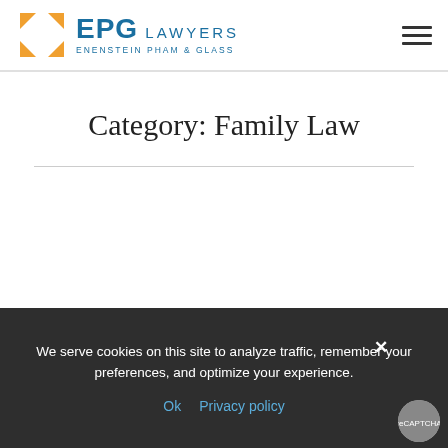EPG LAWYERS ENENSTEIN PHAM & GLASS
Category: Family Law
We serve cookies on this site to analyze traffic, remember your preferences, and optimize your experience.
Ok   Privacy policy